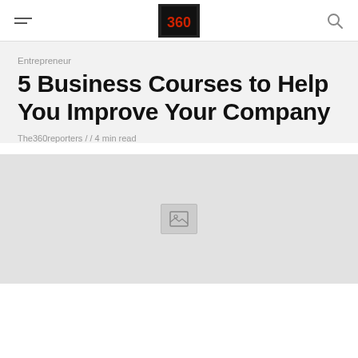The360reporters — navigation header with hamburger menu, logo, and search icon
Entrepreneur
5 Business Courses to Help You Improve Your Company
The360reporters / / 4 min read
[Figure (photo): Article feature image placeholder (broken/loading image icon on light grey background)]